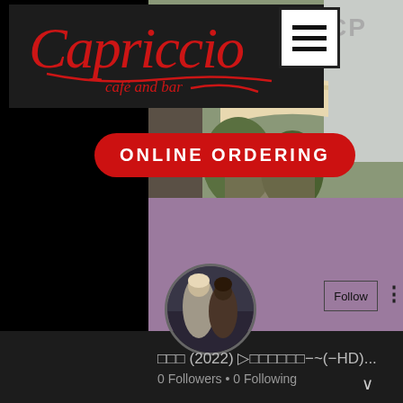[Figure (screenshot): Capriccio café and bar logo on dark background with outdoor restaurant photo and online ordering button]
Capriccio café and bar
ONLINE ORDERING
[Figure (screenshot): Social media profile page with purple background, profile photo of fantasy movie characters, Follow button, and profile name with 0 Followers 0 Following]
□□□ (2022) ▷□□□□□□−~(−HD)...
0 Followers • 0 Following